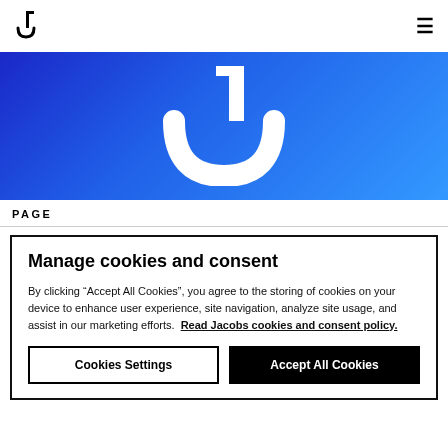Jacobs logo and navigation hamburger menu
[Figure (logo): Jacobs company logo banner — large white J-shaped icon on blue gradient background]
PAGE
Manage cookies and consent
By clicking "Accept All Cookies", you agree to the storing of cookies on your device to enhance user experience, site navigation, analyze site usage, and assist in our marketing efforts.  Read Jacobs cookies and consent policy.
Cookies Settings | Accept All Cookies